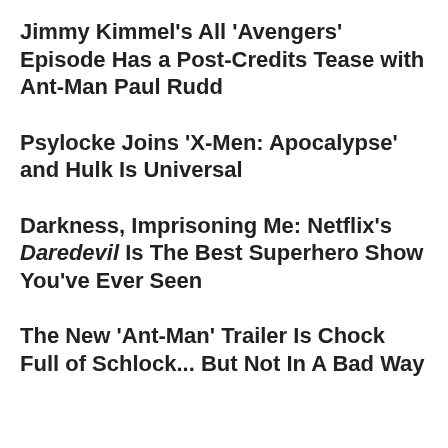Jimmy Kimmel's All 'Avengers' Episode Has a Post-Credits Tease with Ant-Man Paul Rudd
Psylocke Joins 'X-Men: Apocalypse' and Hulk Is Universal
Darkness, Imprisoning Me: Netflix's Daredevil Is The Best Superhero Show You've Ever Seen
The New 'Ant-Man' Trailer Is Chock Full of Schlock... But Not In A Bad Way